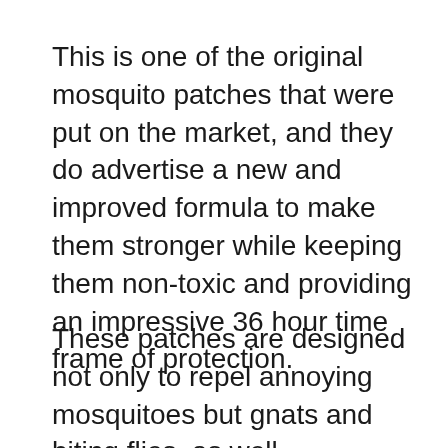This is one of the original mosquito patches that were put on the market, and they do advertise a new and improved formula to make them stronger while keeping them non-toxic and providing an impressive 36 hour time frame of protection.
These patches are designed not only to repel annoying mosquitoes but gnats and biting flies, as well.